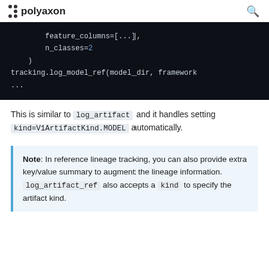polyaxon
[Figure (screenshot): Dark code block showing Python code: feature_columns=[...], n_classes=2 ), tracking.log_model_ref(model_dir, framework ...]
This is similar to log_artifact and it handles setting kind=V1ArtifactKind.MODEL automatically.
Note: In reference lineage tracking, you can also provide extra key/value summary to augment the lineage information. log_artifact_ref also accepts a kind to specify the artifact kind.